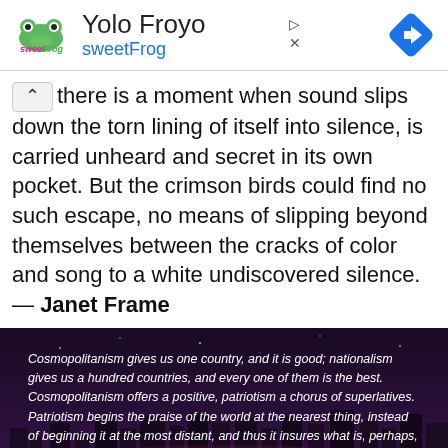[Figure (logo): sweetFrog logo with pink 'sweet' and green 'Frog' text]
Yolo Froyo
sweetFrog
[Figure (other): Blue diamond navigation arrow icon]
there is a moment when sound slips down the torn lining of itself into silence, is carried unheard and secret in its own pocket. But the crimson birds could find no such escape, no means of slipping beyond themselves between the cracks of color and song to a white undiscovered silence. — Janet Frame
[Figure (photo): Dark night cityscape photo with white italic quote text overlay about cosmopolitanism and patriotism. Text reads: Cosmopolitanism gives us one country, and it is good; nationalism gives us a hundred countries, and every one of them is the best. Cosmopolitanism offers a positive, patriotism a chorus of superlatives. Patriotism begins the praise of the world at the nearest thing, instead of beginning it at the most distant, and thus it insures what is, perhaps, the most essential of all earthly considerations, that nothing upon earth shall go without its due appreciation. Wherever there is a strangely-shaped mountain upon some lonely island, wherever there is a nameless kind of fruit growing in some obscure forest, patriotism insures]